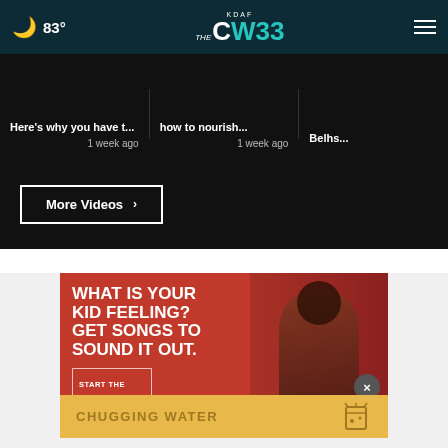KDAF CW33 — 83°
Here's why you have t... 1 week ago
how to nourish... 1 week ago
Belhs...
More Videos ›
[Figure (photo): Advertisement: 'What is your kid feeling? Get songs to sound it out. Start the conversation' with image of a young woman covering her eye, on red background]
CHUGGING WATER